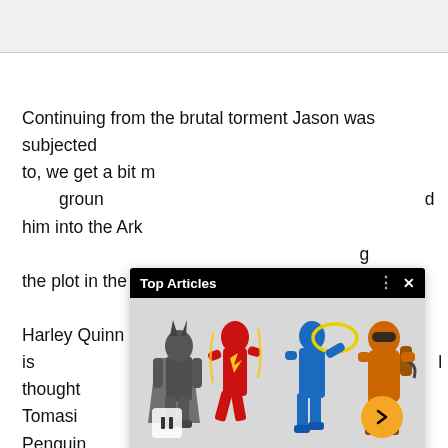Continuing from the brutal torment Jason was subjected to, we get a bit [obscured] d him into the Ark[ham obscured] g the plot in the p[obscured] Harley Quinn is [obscured] l thought Tomasi [obscured] Penguin.
[Figure (screenshot): An overlay widget titled 'Top Articles' showing action figures (Batman, Flash, blue hero, orange villain) from McFarlane Toys Injustice 2 Page Punch line, with pause and next arrow controls.]
McFarlane Toys announces 7-inch Injustice 2 Page Punch...